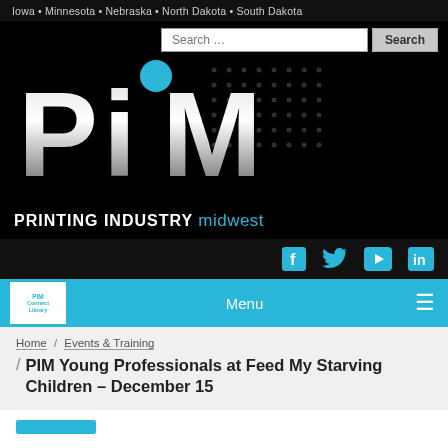Iowa • Minnesota • Nebraska • North Dakota • South Dakota
[Figure (logo): PIM Printing Industry Midwest logo on black background with large stylized PIM letters in silver/grey gradient with a blue dot above the 'i', and search bar at top right]
[Figure (infographic): Social media icons row: Facebook (f), Twitter (bird), YouTube (play button), LinkedIn (in) in cyan/blue color on dark background]
[Figure (logo): Navigation bar with PIM Connect Library logo on left, Menu label in center, hamburger menu icon on right, cyan background]
Home / Events & Training
PIM Young Professionals at Feed My Starving Children – December 15